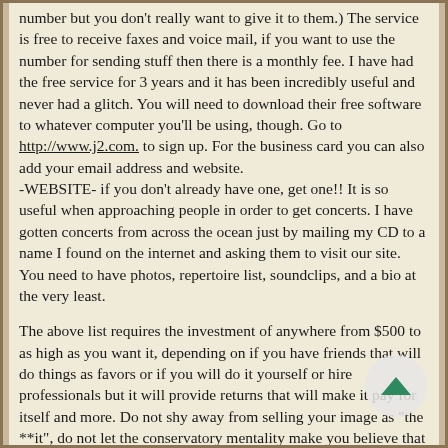number but you don't really want to give it to them.) The service is free to receive faxes and voice mail, if you want to use the number for sending stuff then there is a monthly fee. I have had the free service for 3 years and it has been incredibly useful and never had a glitch. You will need to download their free software to whatever computer you'll be using, though. Go to http://www.j2.com. to sign up. For the business card you can also add your email address and website. -WEBSITE- if you don't already have one, get one!! It is so useful when approaching people in order to get concerts. I have gotten concerts from across the ocean just by mailing my CD to a name I found on the internet and asking them to visit our site. You need to have photos, repertoire list, soundclips, and a bio at the very least.
The above list requires the investment of anywhere from $500 to as high as you want it, depending on if you have friends that will do things as favors or if you will do it yourself or hire professionals but it will provide returns that will make it pay for itself and more. Do not shy away from selling your image as "the **it", do not let the conservatory mentality make you believe that it is against the musical "art". And remember that just because you market yourself this way doesn't mean you necessarily are or need to act like a snob. It is just an *appearance* and the people who know you personally will